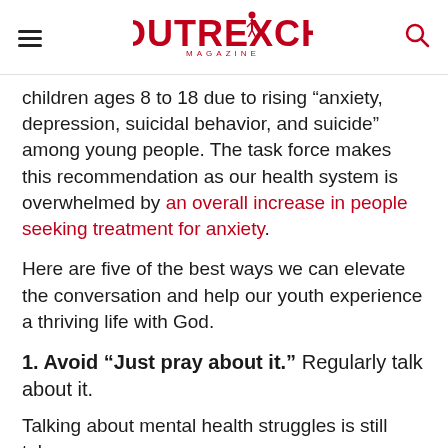Outreach Magazine
children ages 8 to 18 due to rising “anxiety, depression, suicidal behavior, and suicide” among young people. The task force makes this recommendation as our health system is overwhelmed by an overall increase in people seeking treatment for anxiety.
Here are five of the best ways we can elevate the conversation and help our youth experience a thriving life with God.
1. Avoid “Just pray about it.” Regularly talk about it.
Talking about mental health struggles is still taboo